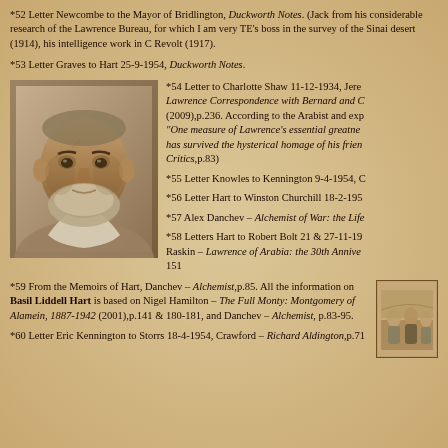*52 Letter Newcombe to the Mayor of Bridlington, Duckworth Notes. (Jack from his considerable research of the Lawrence Bureau, for which I am very TE's boss in the survey of the Sinai desert (1914), his intelligence work in C Revolt (1917).
*53 Letter Graves to Hart 25-9-1954, Duckworth Notes.
[Figure (photo): Sepia-toned portrait of an elderly bearded man, likely Basil Liddell Hart or a related historical figure]
*54 Letter to Charlotte Shaw 11-12-1934, Jere Lawrence Correspondence with Bernard and C (2009),p.236. According to the Arabist and exp "One measure of Lawrence's essential greatne has survived the hysterical homage of his frien Critics,p.83)
*55 Letter Knowles to Kennington 9-4-1954, C
*56 Letter Hart to Winston Churchill 18-2-195
*57 Alex Danchev – Alchemist of War: the Life
*58 Letters Hart to Robert Bolt 21 & 27-11-19 Raskin – Lawrence of Arabia: the 30th Annive 151
*59 From the Memoirs of Hart, Danchev – Alchemist,p.85. All the information on Basil Liddell Hart is based on Nigel Hamilton – The Full Monty: Montgomery of Alamein, 1887-1942 (2001),p.141 & 180-181, and Danchev – Alchemist, p.83-95.
[Figure (photo): Small sepia photo of a group scene, partially visible at bottom right]
*60 Letter Eric Kennington to Storrs 18-4-1954, Crawford – Richard Aldington,p.71